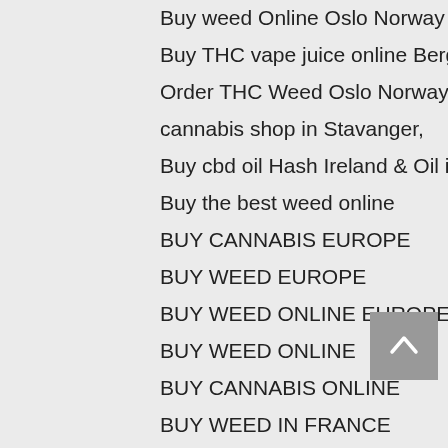Buy weed Online Oslo Norway
Buy THC vape juice online Bergen
Order THC Weed Oslo Norway
cannabis shop in Stavanger,
Buy cbd oil Hash Ireland & Oil in Europe
Buy the best weed online
BUY CANNABIS EUROPE
BUY WEED EUROPE
BUY WEED ONLINE EUROPE
BUY WEED ONLINE
BUY CANNABIS ONLINE
BUY WEED IN FRANCE
BUY WEED IN SPAIN
websites to buy weed online in poland
websites to buy weed online in Finland
websites to buy weed online in Europe
websites to buy weed online uk
The Best cannabis shop in Europe- Amsterdam Online weed shopping in Europe-
Buy Marijuana online with crypto
Buy Marijuana Online Europe |
EU 420 Weed Dispensary |